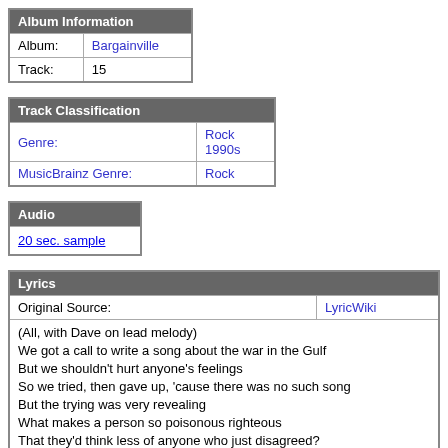| Album Information |
| --- |
| Album: | Bargainville |
| Track: | 15 |
| Track Classification |
| --- |
| Genre: | Rock 1990s |
| MusicBrainz Genre: | Rock |
| Audio |
| --- |
| 20 sec. sample |
| Lyrics |
| --- |
| Original Source: | LyricWiki |
| (All, with Dave on lead melody)
We got a call to write a song about the war in the Gulf
But we shouldn't hurt anyone's feelings
So we tried, then gave up, 'cause there was no such song
But the trying was very revealing
What makes a person so poisonous righteous
That they'd think less of anyone who just disagreed?
She's just a pacifist, he's just a patriot
If I said you were crazy, would you have to fight me? |  |